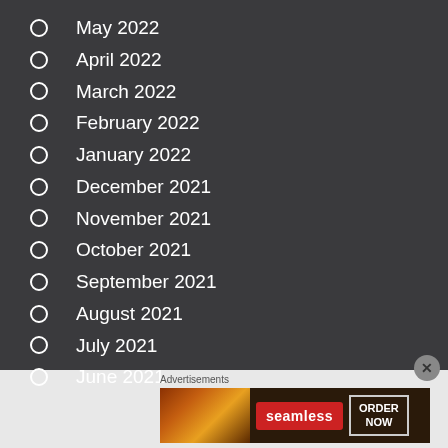May 2022
April 2022
March 2022
February 2022
January 2022
December 2021
November 2021
October 2021
September 2021
August 2021
July 2021
June 2021
Advertisements
[Figure (infographic): Seamless food delivery advertisement banner with pizza image, red Seamless logo, and ORDER NOW button]